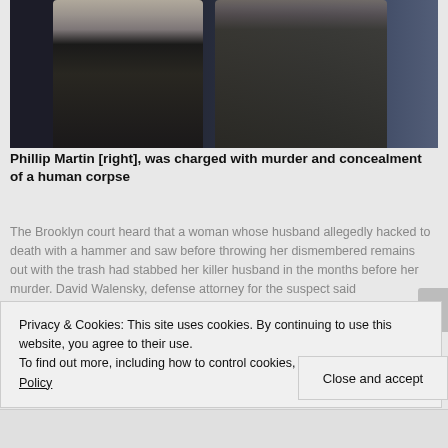[Figure (photo): Two men in a darkened setting; one on the left wearing a suit and striped tie, one on the right with long hair and beard wearing a dark jacket, both looking down.]
Phillip Martin [right], was charged with murder and concealment of a human corpse
The Brooklyn court heard that a woman whose husband allegedly hacked to death with a hammer and saw before throwing her dismembered remains out with the trash had stabbed her killer husband in the months before her murder. David Walensky, defense attorney for the suspect said Thursday,"She had her own history of violence," Walensky said
Privacy & Cookies: This site uses cookies. By continuing to use this website, you agree to their use.
To find out more, including how to control cookies, see here: Cookie Policy
Close and accept